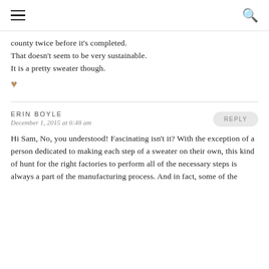[hamburger menu] [search icon]
county twice before it's completed. That doesn't seem to be very sustainable. It is a pretty sweater though.
♥
ERIN BOYLE
December 1, 2015 at 6:48 am
REPLY
Hi Sam, No, you understood! Fascinating isn't it? With the exception of a person dedicated to making each step of a sweater on their own, this kind of hunt for the right factories to perform all of the necessary steps is always a part of the manufacturing process. And in fact, some of the